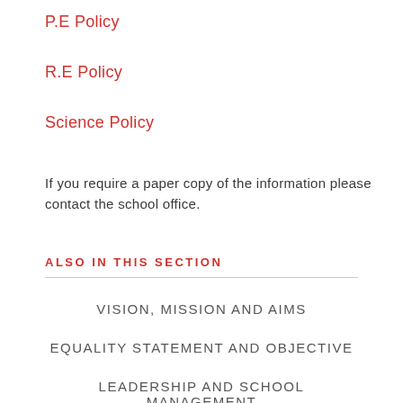P.E Policy
R.E Policy
Science Policy
If you require a paper copy of the information please contact the school office.
ALSO IN THIS SECTION
VISION, MISSION AND AIMS
EQUALITY STATEMENT AND OBJECTIVE
LEADERSHIP AND SCHOOL MANAGEMENT